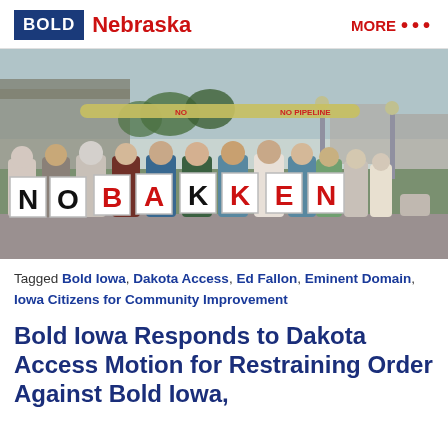BOLD Nebraska | MORE ...
[Figure (photo): Group of protesters holding individual letter signs spelling out NO BAKKEN at an outdoor event. People of various ages stand in a row, each holding a white sign with a large letter. A stylized pipeline prop is visible above them. Background shows a park or fairground setting with trees and lampposts.]
Tagged Bold Iowa, Dakota Access, Ed Fallon, Eminent Domain, Iowa Citizens for Community Improvement
Bold Iowa Responds to Dakota Access Motion for Restraining Order Against Bold Iowa,